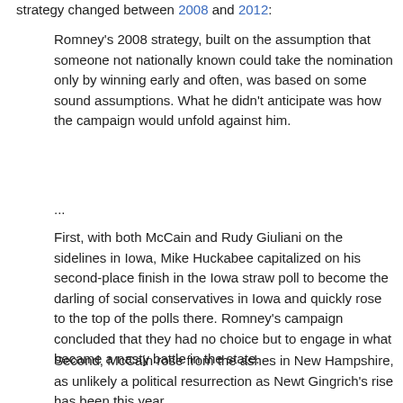strategy changed between 2008 and 2012:
Romney's 2008 strategy, built on the assumption that someone not nationally known could take the nomination only by winning early and often, was based on some sound assumptions. What he didn't anticipate was how the campaign would unfold against him.
...
First, with both McCain and Rudy Giuliani on the sidelines in Iowa, Mike Huckabee capitalized on his second-place finish in the Iowa straw poll to become the darling of social conservatives in Iowa and quickly rose to the top of the polls there. Romney's campaign concluded that they had no choice but to engage in what became a nasty battle in the state.
Second, McCain rose from the ashes in New Hampshire, as unlikely a political resurrection as Newt Gingrich's rise has been this year.